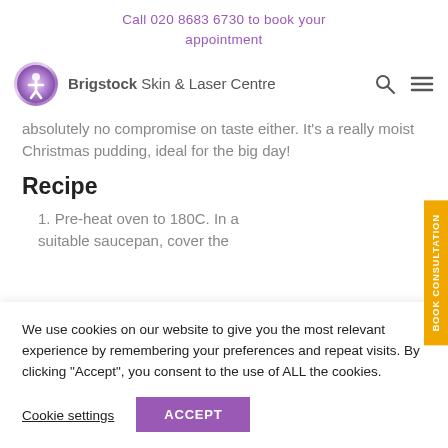Call 020 8683 6730 to book your appointment
[Figure (logo): Brigstock Skin & Laser Centre logo with circular emblem and text]
absolutely no compromise on taste either. It's a really moist Christmas pudding, ideal for the big day!
Recipe
1. Pre-heat oven to 180C. In a suitable saucepan, cover the
We use cookies on our website to give you the most relevant experience by remembering your preferences and repeat visits. By clicking “Accept”, you consent to the use of ALL the cookies.
Cookie settings  ACCEPT